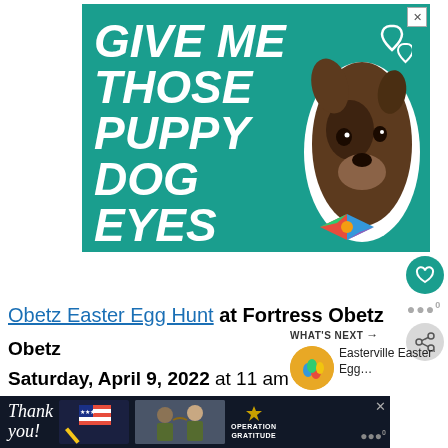[Figure (illustration): Advertisement banner with teal background showing a brown pitbull dog wearing a colorful bow tie, with bold white italic text reading 'GIVE ME THOSE PUPPY DOG EYES' and heart outlines in the upper right corner]
Obetz Easter Egg Hunt at Fortress Obetz
Saturday, April 9, 2022 at 11 am
The Easter Bunny will be there, along with
[Figure (photo): Thumbnail image of Easter eggs for 'What's Next' section showing Easterville Easter Egg...]
[Figure (illustration): Bottom advertisement banner with dark background showing 'Thank you!' text in cursive with American flag imagery and soldiers, alongside Operation Gratitude logo]